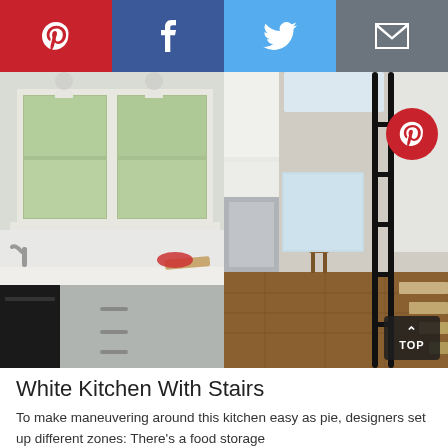[Figure (other): Social media share bar with Pinterest (red), Facebook (dark blue), Twitter (light blue), and email (gray) buttons with white icons]
[Figure (photo): Two side-by-side interior photos of a white kitchen with stairs. Left photo shows a kitchen with farmhouse sink, black dishwasher, gray cabinets, white marble countertop, and windows with garden view. Right photo shows the same kitchen from another angle with stainless appliances, white upper cabinets, wood floors, and staircase railing visible. A Pinterest badge overlay appears top-right, and a TOP navigation button appears bottom-right.]
White Kitchen With Stairs
To make maneuvering around this kitchen easy as pie, designers set up different zones: There's a food storage